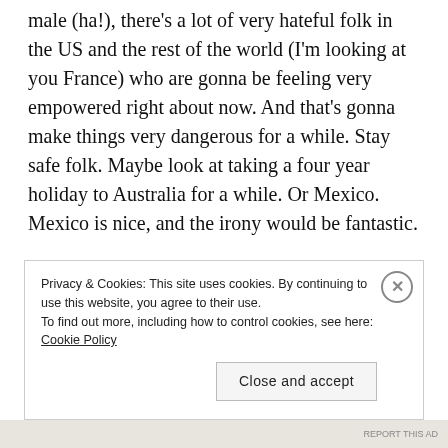male (ha!), there's a lot of very hateful folk in the US and the rest of the world (I'm looking at you France) who are gonna be feeling very empowered right about now. And that's gonna make things very dangerous for a while. Stay safe folk. Maybe look at taking a four year holiday to Australia for a while. Or Mexico. Mexico is nice, and the irony would be fantastic.

As for who else loses and benefits from this election? We'll just have to wait and see what policies and
Privacy & Cookies: This site uses cookies. By continuing to use this website, you agree to their use.
To find out more, including how to control cookies, see here: Cookie Policy
Close and accept